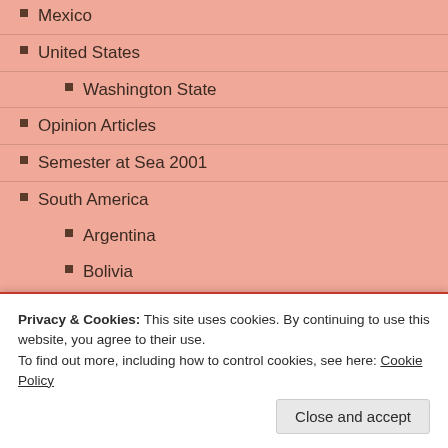Mexico
United States
Washington State
Opinion Articles
Semester at Sea 2001
South America
Argentina
Bolivia
Brazil
Chile
Colombia
Ecuador
Peru
Privacy & Cookies: This site uses cookies. By continuing to use this website, you agree to their use.
To find out more, including how to control cookies, see here: Cookie Policy
Close and accept